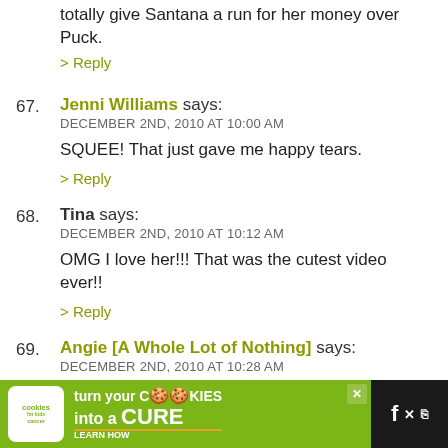totally give Santana a run for her money over Puck.
> Reply
67. Jenni Williams says: DECEMBER 2ND, 2010 AT 10:00 AM
SQUEE! That just gave me happy tears.
> Reply
68. Tina says: DECEMBER 2ND, 2010 AT 10:12 AM
OMG I love her!!! That was the cutest video ever!!
> Reply
69. Angie [A Whole Lot of Nothing] says: DECEMBER 2ND, 2010 AT 10:28 AM
*PASSES OUT* from the cute.
> Reply
[Figure (infographic): Advertisement banner: 'cookies for kids cancer - turn your cookies into a CURE LEARN HOW' on green/dark background]